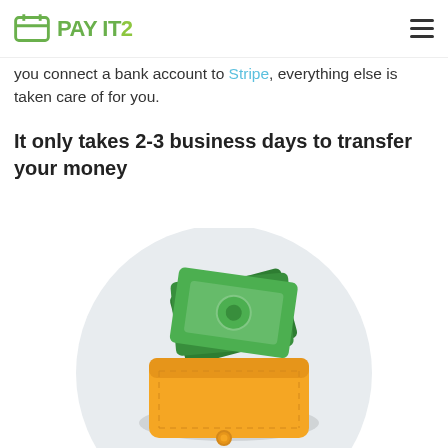PAY IT 2
you connect a bank account to Stripe, everything else is taken care of for you.
It only takes 2-3 business days to transfer your money
[Figure (illustration): Illustration of a wallet with green cash bills sticking out, set against a light grey circular background.]